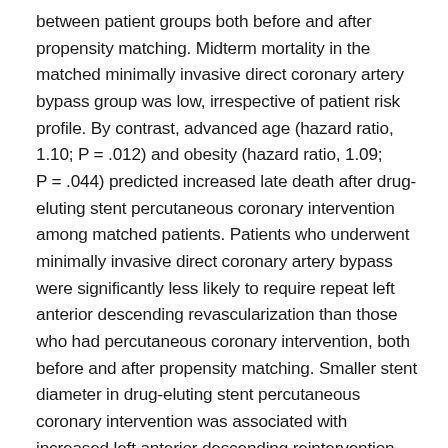between patient groups both before and after propensity matching. Midterm mortality in the matched minimally invasive direct coronary artery bypass group was low, irrespective of patient risk profile. By contrast, advanced age (hazard ratio, 1.10; P = .012) and obesity (hazard ratio, 1.09; P = .044) predicted increased late death after drug-eluting stent percutaneous coronary intervention among matched patients. Patients who underwent minimally invasive direct coronary artery bypass were significantly less likely to require repeat left anterior descending revascularization than those who had percutaneous coronary intervention, both before and after propensity matching. Smaller stent diameter in drug-eluting stent percutaneous coronary intervention was associated with increased left anterior descending reintervention (hazard ratio, 3.53; P = .005).